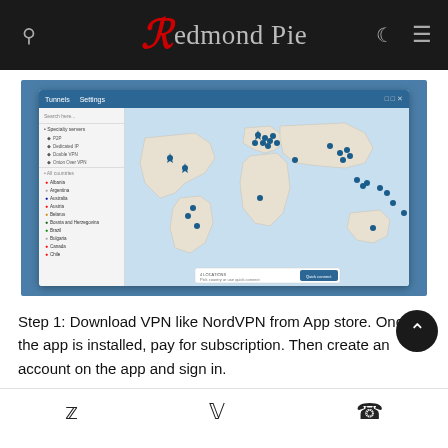Redmond Pie
[Figure (screenshot): NordVPN application window showing a world map with server location pins and a sidebar listing server categories and countries including Albania, Argentina, Australia, Austria, Belarus, Bosnia and Herzegovina, Brazil, Bulgaria, Canada, Chile.]
Step 1: Download VPN like NordVPN from App store. Once the app is installed, pay for subscription. Then create an account on the app and sign in.
Twitter | Facebook | WhatsApp